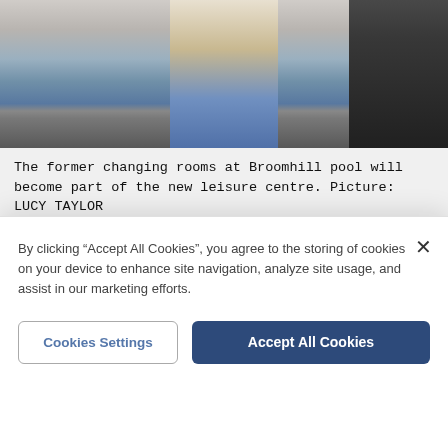[Figure (photo): Interior corridor/changing room photo showing a passageway with blue floor mats, white walls, and dark stairs on the right at Broomhill pool]
The former changing rooms at Broomhill pool will become part of the new leisure centre. Picture: LUCY TAYLOR
Most Read
Former teacher jailed for third time for making
By clicking “Accept All Cookies”, you agree to the storing of cookies on your device to enhance site navigation, analyze site usage, and assist in our marketing efforts.
Cookies Settings
Accept All Cookies